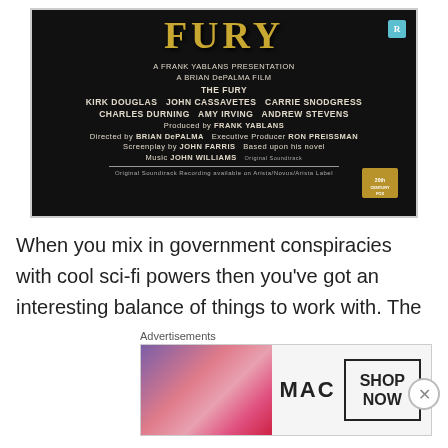[Figure (photo): Movie poster for 'The Fury' - black background with gold title text and white credits listing: A FRANK YABLANS PRESENTATION / A BRIAN DePALMA FILM / THE FURY / KIRK DOUGLAS JOHN CASSAVETES CARRIE SNODGRESS / CHARLES DURNING AMY IRVING ANDREW STEVENS / Produced by FRANK YABLANS / Directed by BRIAN DePALMA Executive Producer RON PREISSMAN / Screenplay by JOHN FARRIS Based upon his novel / Music JOHN WILLIAMS / Original Soundtrack Recording on Arista/Novus/Aris Label. R rating badge in top right corner. 20th Century Fox logo bottom right.]
When you mix in government conspiracies with cool sci-fi powers then you've got an interesting balance of things to work with. The Fury has a lot of interesting themes without a doubt but it also felt unfocused at the same time. I was often more interested in what the main guy was doing than in the kid who was trying to get used to her powers. The
[Figure (photo): MAC cosmetics advertisement banner showing colorful lipsticks on left side, MAC logo in center, and a 'SHOP NOW' box on right. Has a close (X) button overlay.]